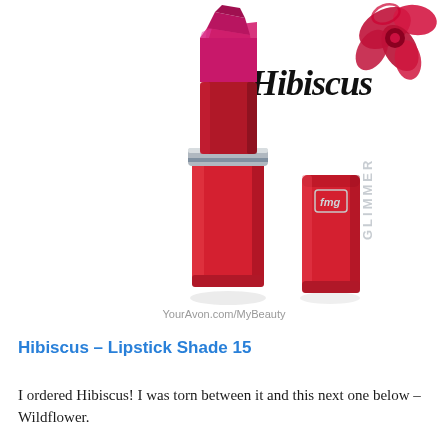[Figure (photo): Product photo of FMG Glimmer lipstick in Hibiscus shade 15. Shows a red lipstick tube with deep pink/magenta lipstick bullet extended, plus the red cap standing next to it with 'fmg GLIMMER' text. A hibiscus flower illustration and the word 'Hibiscus' in decorative script appear in the upper right. Watermark reads YourAvon.com/MyBeauty.]
Hibiscus – Lipstick Shade 15
I ordered Hibiscus! I was torn between it and this next one below – Wildflower.